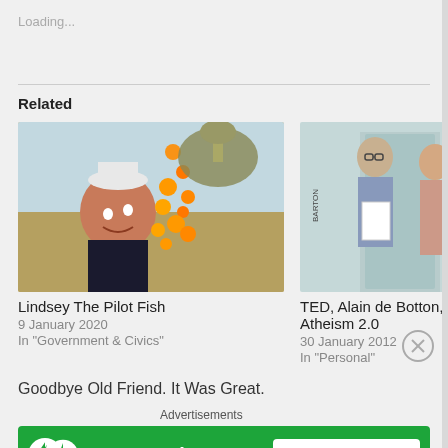Loading...
Related
[Figure (illustration): Cartoon caricature of a man with orange pellets or food being poured from above, colorful editorial illustration - Lindsey The Pilot Fish]
Lindsey The Pilot Fish
9 January 2020
In "Government & Civics"
[Figure (illustration): Cartoon illustration of three men at a door, one holding papers - TED, Alain de Botton, and Atheism 2.0]
TED, Alain de Botton, and Atheism 2.0
30 January 2012
In "Personal"
Goodbye Old Friend. It Was Great.
Advertisements
[Figure (logo): Jetpack advertisement banner with green background, Jetpack logo on left and 'Secure Your Site' button on right]